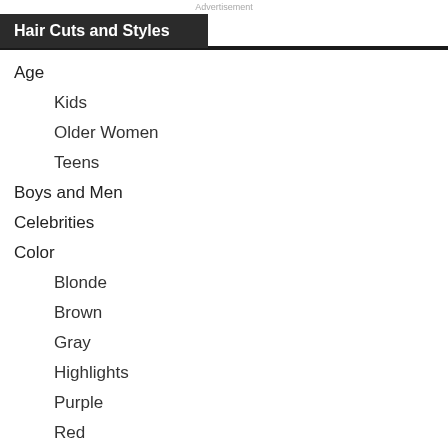Advertisement
Hair Cuts and Styles
Age
Kids
Older Women
Teens
Boys and Men
Celebrities
Color
Blonde
Brown
Gray
Highlights
Purple
Red